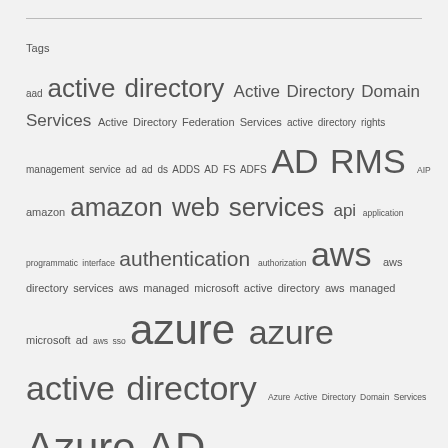Tags
aad active directory Active Directory Domain Services Active Directory Federation Services active directory rights management service ad ad ds ADDS AD FS ADFS AD RMS AIP amazon amazon web services api application programmatic interface authentication authorization aws aws directory services aws managed microsoft active directory aws managed microsoft ad aws sso azure azure active directory Azure Active Directory Domain Services Azure AD azure ad premium p2 azure ad privileged identity management azure firewall azure information protection azure rights management service Azure RMS casb cloud data governance dns e5 EMS enterprise mobility + security federation G-Suite Google google cloud platform governance graph api IaaS identity integration Kerberos